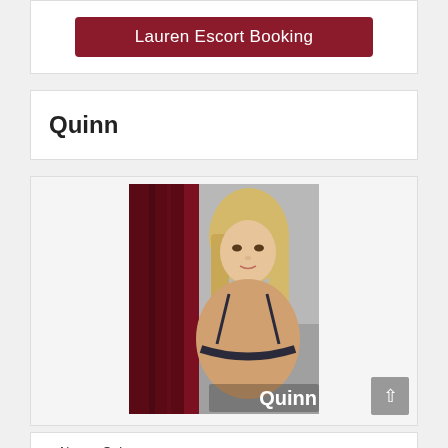Lauren Escort Booking
Quinn
[Figure (photo): Portrait photo of a young blonde woman in lingerie against a dark red curtain background, with the name 'Quinn' overlaid in white text at the bottom right]
Name: Quinn